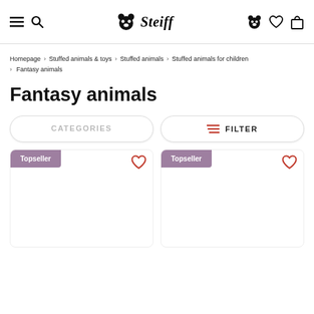Steiff navigation header with hamburger menu, search, logo, wishlist and cart icons
Homepage > Stuffed animals & toys > Stuffed animals > Stuffed animals for children > Fantasy animals
Fantasy animals
CATEGORIES | FILTER
[Figure (screenshot): Two product cards each labeled Topseller with a red heart wishlist icon, product images not visible (cropped), on a white background]